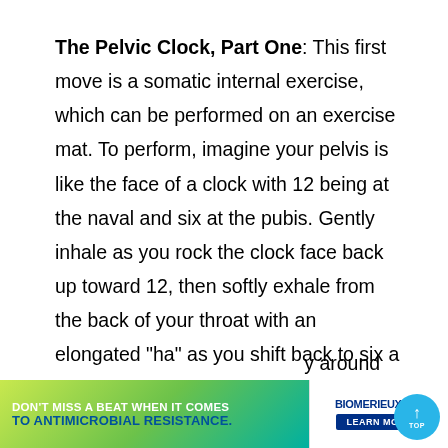The Pelvic Clock, Part One: This first move is a somatic internal exercise, which can be performed on an exercise mat. To perform, imagine your pelvis is like the face of a clock with 12 being at the naval and six at the pubis. Gently inhale as you rock the clock face back up toward 12, then softly exhale from the back of your throat with an elongated "ha" as you shift back to six a few times. Then, repeat the rock in a horizontal rolling motion, imagining that you're painting from three at your right hip …y around …and…
[Figure (infographic): Advertisement banner at bottom: green gradient section reading 'DON'T MISS A BEAT WHEN IT COMES TO ANTIMICROBIAL RESISTANCE.' alongside BioMerieux logo with 'DX' badge and 'LEARN MORE' button. Blue circular 'TOP' scroll button on far right.]